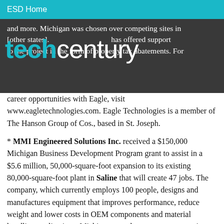ESD Home
[Figure (logo): techcentury logo with 'tech' in cyan and 'century' in white, overlaid on dark background band]
and more. Michigan was chosen over competing sites in [other states]. [The charter township] has offered support to the project in the form of property tax abatements. For career opportunities with Eagle, visit www.eagletechnologies.com. Eagle Technologies is a member of The Hanson Group of Cos., based in St. Joseph.
* MMI Engineered Solutions Inc. received a $150,000 Michigan Business Development Program grant to assist in a $5.6 million, 50,000-square-foot expansion to its existing 80,000-square-foot plant in Saline that will create 47 jobs. The company, which currently employs 100 people, designs and manufactures equipment that improves performance, reduce weight and lower costs in OEM components and material handling applications. Michigan was chosen over a competing site in Mexico. The city of Saline has offered support to the project in the form of property tax...